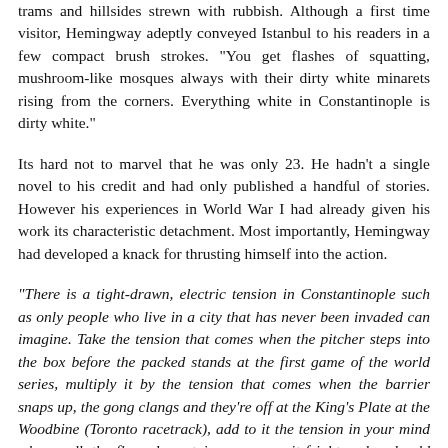trams and hillsides strewn with rubbish. Although a first time visitor, Hemingway adeptly conveyed Istanbul to his readers in a few compact brush strokes. "You get flashes of squatting, mushroom-like mosques always with their dirty white minarets rising from the corners. Everything white in Constantinople is dirty white."
Its hard not to marvel that he was only 23. He hadn't a single novel to his credit and had only published a handful of stories. However his experiences in World War I had already given his work its characteristic detachment. Most importantly, Hemingway had developed a knack for thrusting himself into the action.
"There is a tight-drawn, electric tension in Constantinople such as only people who live in a city that has never been invaded can imagine. Take the tension that comes when the pitcher steps into the box before the packed stands at the first game of the world series, multiply it by the tension that comes when the barrier snaps up, the gong clangs and they're off at the King's Plate at the Woodbine (Toronto racetrack), add to it the tension in your mind when walk the floor downstairs as you wait frightened and cold from